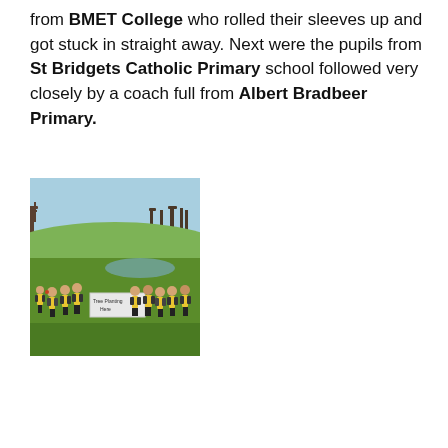from BMET College who rolled their sleeves up and got stuck in straight away. Next were the pupils from St Bridgets Catholic Primary school followed very closely by a coach full from Albert Bradbeer Primary.
[Figure (photo): Group of school children in high-visibility yellow vests standing in a field holding a sign that reads 'Tree Planting Here'. Green rolling hills and bare winter trees in background under a blue sky.]